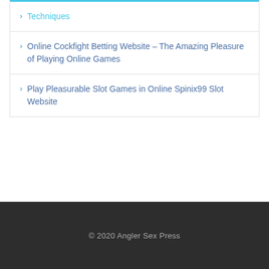Techniques
Online Cockfight Betting Website – The Amazing Pleasure of Playing Online Games
Play Pleasurable Slot Games in Online Spinix99 Slot Website
© 2020 Angler Sex Press